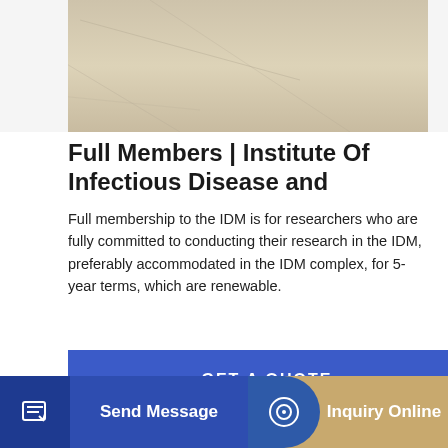[Figure (photo): Top photo showing a light beige/grey concrete or tarmac surface with faint lines/cracks, cropped to show only the ground texture.]
Full Members | Institute Of Infectious Disease and
Full membership to the IDM is for researchers who are fully committed to conducting their research in the IDM, preferably accommodated in the IDM complex, for 5-year terms, which are renewable.
GET A QUOTE
[Figure (photo): Photo of industrial cement silos — tall blue and white cylindrical structures with Chinese characters, against a pale blue sky. Additional smaller silos visible in the background right.]
Send Message
Inquiry Online